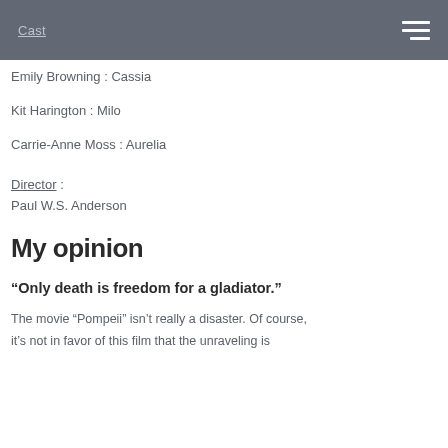Cast
Emily Browning : Cassia
Kit Harington : Milo
Carrie-Anne Moss : Aurelia
Director :
Paul W.S. Anderson
My opinion
“Only death is freedom for a gladiator.”
The movie “Pompeii” isn’t really a disaster. Of course, it’s not in favor of this film that the unraveling is